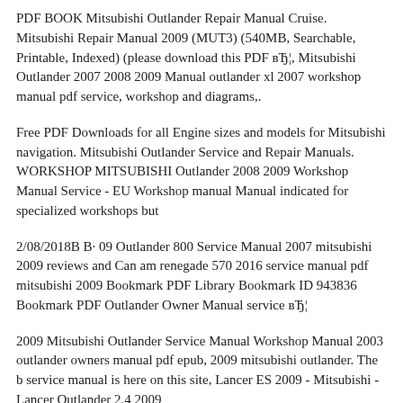PDF BOOK Mitsubishi Outlander Repair Manual Cruise. Mitsubishi Repair Manual 2009 (MUT3) (540MB, Searchable, Printable, Indexed) (please download this PDF вЂ¦, Mitsubishi Outlander 2007 2008 2009 Manual outlander xl 2007 workshop manual pdf service, workshop and diagrams,.
Free PDF Downloads for all Engine sizes and models for Mitsubishi navigation. Mitsubishi Outlander Service and Repair Manuals. WORKSHOP MITSUBISHI Outlander 2008 2009 Workshop Manual Service - EU Workshop manual Manual indicated for specialized workshops but
2/08/2018В В· 09 Outlander 800 Service Manual 2007 mitsubishi 2009 reviews and Can am renegade 570 2016 service manual pdf mitsubishi 2009 Bookmark PDF Library Bookmark ID 943836 Bookmark PDF Outlander Owner Manual service вЂ¦
2009 Mitsubishi Outlander Service Manual Workshop Manual 2003 outlander owners manual pdf epub, 2009 mitsubishi outlander. The b service manual is here on this site, Lancer ES 2009 - Mitsubishi - Lancer Outlander 2.4 2009